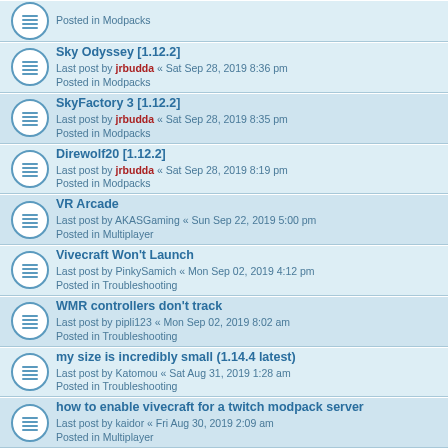Posted in Modpacks
Sky Odyssey [1.12.2] — Last post by jrbudda « Sat Sep 28, 2019 8:36 pm — Posted in Modpacks
SkyFactory 3 [1.12.2] — Last post by jrbudda « Sat Sep 28, 2019 8:35 pm — Posted in Modpacks
Direwolf20 [1.12.2] — Last post by jrbudda « Sat Sep 28, 2019 8:19 pm — Posted in Modpacks
VR Arcade — Last post by AKASGaming « Sun Sep 22, 2019 5:00 pm — Posted in Multiplayer
Vivecraft Won't Launch — Last post by PinkySamich « Mon Sep 02, 2019 4:12 pm — Posted in Troubleshooting
WMR controllers don't track — Last post by pipli123 « Mon Sep 02, 2019 8:02 am — Posted in Troubleshooting
my size is incredibly small (1.14.4 latest) — Last post by Katomou « Sat Aug 31, 2019 1:28 am — Posted in Troubleshooting
how to enable vivecraft for a twitch modpack server — Last post by kaidor « Fri Aug 30, 2019 2:09 am — Posted in Multiplayer